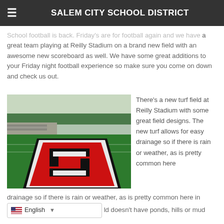SALEM CITY SCHOOL DISTRICT
School football is back. Friday's are for football again and we have a great team playing at Reilly Stadium on a brand new field with an awesome new scoreboard as well. We have some great additions to your Friday night football experience so make sure you come on down and check us out.
[Figure (photo): Aerial view of a turf football field at Reilly Stadium showing a large red and black letter S logo on green turf]
There's a new turf field at Reilly Stadium with some great field designs. The new turf allows for easy drainage so if there is rain or weather, as is pretty common here in... ld doesn't have ponds, hills or mud